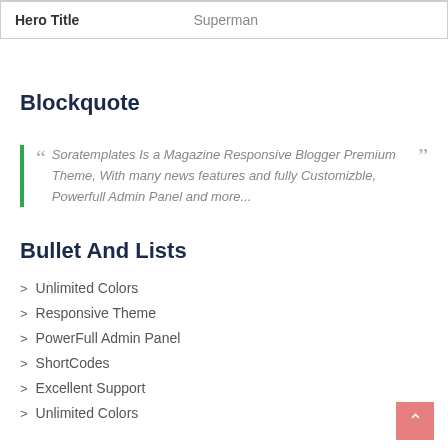| Hero Title | Superman |
Blockquote
“ Soratemplates Is a Magazine Responsive Blogger Premium Theme, With many news features and fully Customizble, Powerfull Admin Panel and more... ”
Bullet And Lists
> Unlimited Colors
> Responsive Theme
> PowerFull Admin Panel
> ShortCodes
> Excellent Support
> Unlimited Colors
> Responsive Theme
> PowerFull Admin Panel